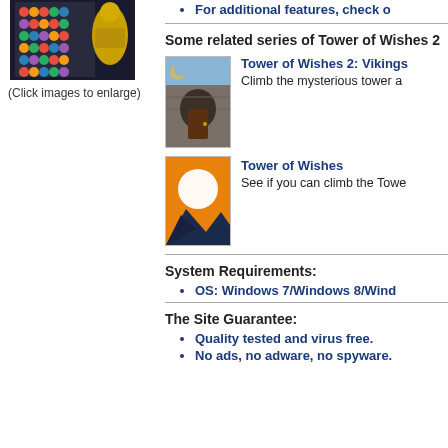[Figure (screenshot): Game screenshot thumbnail showing colorful gem/jewel game with golden figure]
(Click images to enlarge)
For additional features, check o...
Some related series of Tower of Wishes 2
[Figure (screenshot): Tower of Wishes 2: Vikings - stone castle/tower entrance door image]
Tower of Wishes 2: Vikings
Climb the mysterious tower a...
[Figure (illustration): Tower of Wishes - orange sunset with white sun and dark mountain silhouette]
Tower of Wishes
See if you can climb the Towe...
System Requirements:
OS: Windows 7/Windows 8/Wind...
The Site Guarantee:
Quality tested and virus free.
No ads, no adware, no spyware.